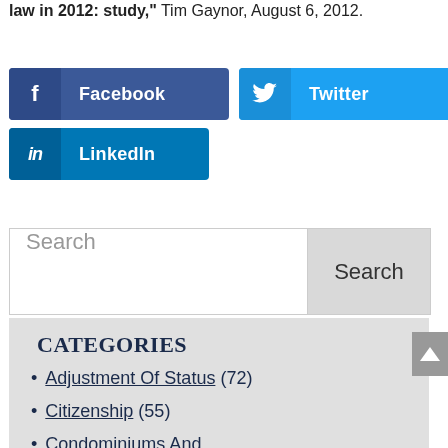Source: Reuters, "States passing fewer immigration law in 2012: study," Tim Gaynor, August 6, 2012.
[Figure (other): Social share buttons: Facebook (dark blue), Twitter (light blue), LinkedIn (teal blue)]
Search
CATEGORIES
Adjustment Of Status (72)
Citizenship (55)
Condominiums And Cooperatives (54)